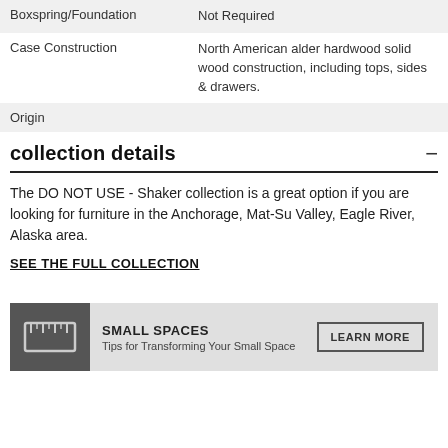| Attribute | Value |
| --- | --- |
| Boxspring/Foundation | Not Required |
| Case Construction | North American alder hardwood solid wood construction, including tops, sides & drawers. |
| Origin |  |
collection details
The DO NOT USE - Shaker collection is a great option if you are looking for furniture in the Anchorage, Mat-Su Valley, Eagle River, Alaska area.
SEE THE FULL COLLECTION
[Figure (infographic): Small Spaces banner with ruler/tape measure icon, title 'SMALL SPACES', subtitle 'Tips for Transforming Your Small Space', and a LEARN MORE button]